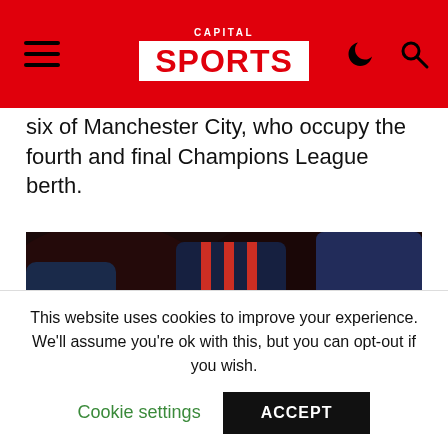CAPITAL SPORTS
six of Manchester City, who occupy the fourth and final Champions League berth.
[Figure (photo): A footballer being carried off on a stretcher by medical staff wearing dark blue tracksuit with red stripes. The stretcher is orange/brown colored. The setting appears to be an indoor football stadium.]
This website uses cookies to improve your experience. We'll assume you're ok with this, but you can opt-out if you wish.
Cookie settings  ACCEPT